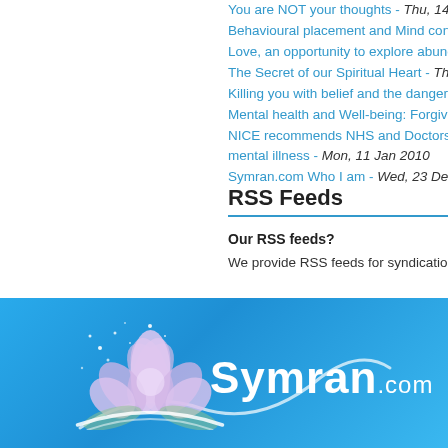You are NOT your thoughts - Thu, 14 May 20...
Behavioural placement and Mind control in n...
Love, an opportunity to explore abundance - ...
The Secret of our Spiritual Heart - Thu, 11 F...
Killing you with belief and the dangers of Be...
Mental health and Well-being: Forgiveness a...
NICE recommends NHS and Doctors to offer... mental illness - Mon, 11 Jan 2010
Symran.com Who I am - Wed, 23 Dec 2009
RSS Feeds
Our RSS feeds?
We provide RSS feeds for syndication and shar...
[Figure (logo): Symran.com logo with lotus flower on blue gradient background]